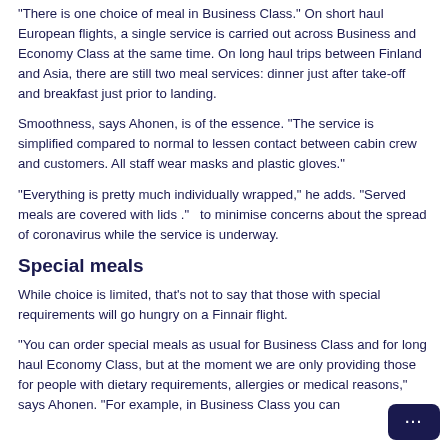"There is one choice of meal in Business Class." On short haul European flights, a single service is carried out across Business and Economy Class at the same time. On long haul trips between Finland and Asia, there are still two meal services: dinner just after take-off and breakfast just prior to landing.
Smoothness, says Ahonen, is of the essence. "The service is simplified compared to normal to lessen contact between cabin crew and customers. All staff wear masks and plastic gloves."
"Everything is pretty much individually wrapped," he adds. "Served meals are covered with lids ."   to minimise concerns about the spread of coronavirus while the service is underway.
Special meals
While choice is limited, that's not to say that those with special requirements will go hungry on a Finnair flight.
"You can order special meals as usual for Business Class and for long haul Economy Class, but at the moment we are only providing those for people with dietary requirements, allergies or medical reasons," says Ahonen. "For example, in Business Class you can